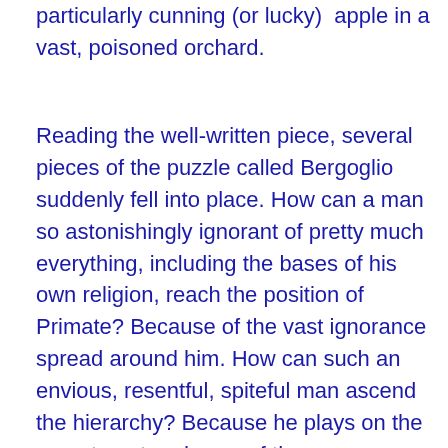particularly cunning (or lucky)  apple in a vast, poisoned orchard.
Reading the well-written piece, several pieces of the puzzle called Bergoglio suddenly fell into place. How can a man so astonishingly ignorant of pretty much everything, including the bases of his own religion, reach the position of Primate? Because of the vast ignorance spread around him. How can such an envious, resentful, spiteful man ascend the hierarchy? Because he plays on the resentment and envy of the common people. How can his breathtaking hypocrisy be tolerated? Because it's a kind of national sport. How can he get away with his fundamental lack of integrity? Because this is not seen as a negative trait among many of his compatriots. How could he avoid the knives searching for him along the way? Because he chose Rome and ditched the Jesuit revolutionary, Arrupe.